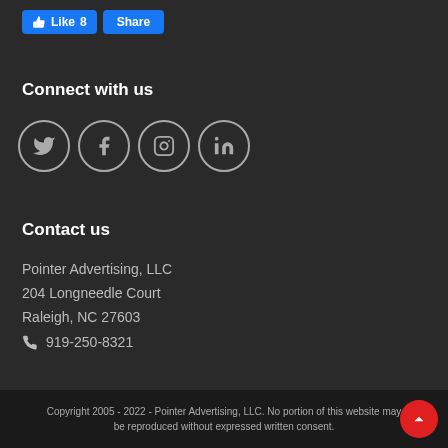[Figure (other): Facebook Like (8) and Share buttons in blue]
Connect with us
[Figure (other): Social media icon buttons in circles: Twitter, Facebook, Instagram, LinkedIn]
Contact us
Pointer Advertising, LLC
204 Longneedle Court
Raleigh, NC 27603
📞 919-250-8321
Copyright 2005 - 2022 - Pointer Advertising, LLC. No portion of this website may be reproduced without expressed written consent.